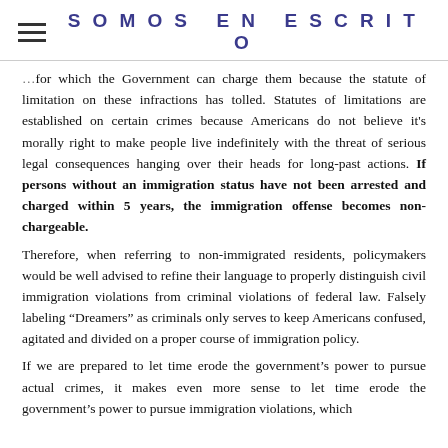SOMOS EN ESCRITO
for which the Government can charge them because the statute of limitation on these infractions has tolled. Statutes of limitations are established on certain crimes because Americans do not believe it's morally right to make people live indefinitely with the threat of serious legal consequences hanging over their heads for long-past actions. If persons without an immigration status have not been arrested and charged within 5 years, the immigration offense becomes non-chargeable.
Therefore, when referring to non-immigrated residents, policymakers would be well advised to refine their language to properly distinguish civil immigration violations from criminal violations of federal law. Falsely labeling “Dreamers” as criminals only serves to keep Americans confused, agitated and divided on a proper course of immigration policy.
If we are prepared to let time erode the government’s power to pursue actual crimes, it makes even more sense to let time erode the government’s power to pursue immigration violations, which